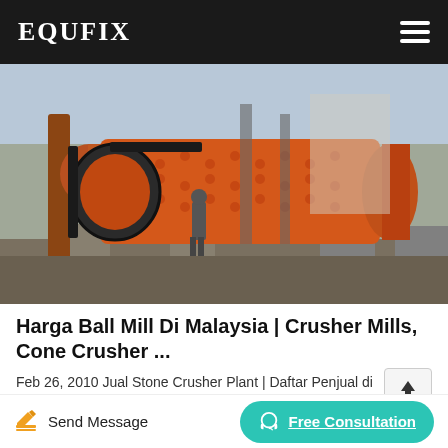EQUFIX
[Figure (photo): Industrial ball mill / grinding mill machine outdoors at a construction or mining site, large orange cylindrical drum with a worker visible in background]
Harga Ball Mill Di Malaysia | Crusher Mills, Cone Crusher ...
Feb 26, 2010 Jual Stone Crusher Plant | Daftar Penjual di Indonesia ... energy saving industrial ball mill. harga mesin ball mill untuk sanitaryware – Kefid Machinery
Send Message   Free Consultation